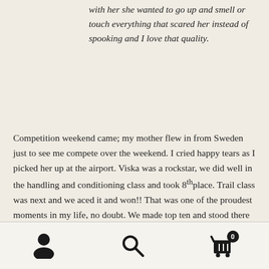with her she wanted to go up and smell or touch everything that scared her instead of spooking and I love that quality.
Competition weekend came; my mother flew in from Sweden just to see me compete over the weekend. I cried happy tears as I picked her up at the airport. Viska was a rockstar, we did well in the handling and conditioning class and took 8th place. Trail class was next and we aced it and won!! That was one of the proudest moments in my life, no doubt. We made top ten and stood there with nine other trainers that did this for a living, and here I was, just a rookie in the game. Ironically I got awarded Rookie Champion too. After it all was said and done I ended in
[navigation icons: person, search, cart with badge 0]